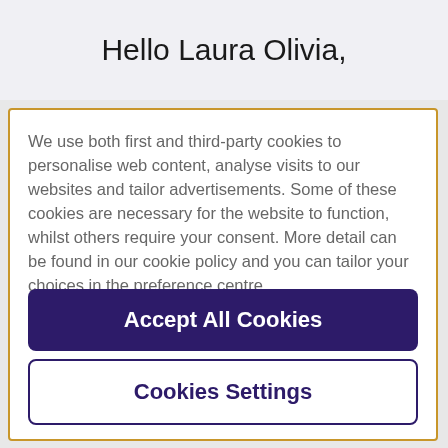Hello Laura Olivia,
We use both first and third-party cookies to personalise web content, analyse visits to our websites and tailor advertisements. Some of these cookies are necessary for the website to function, whilst others require your consent. More detail can be found in our cookie policy and you can tailor your choices in the preference centre.
Accept All Cookies
Cookies Settings